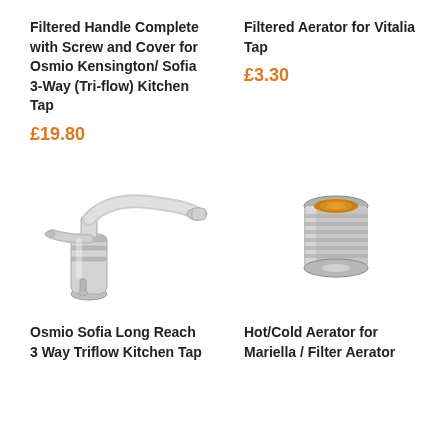Filtered Handle Complete with Screw and Cover for Osmio Kensington/ Sofia 3-Way (Tri-flow) Kitchen Tap
£19.80
Filtered Aerator for Vitalia Tap
£3.30
[Figure (photo): Chrome kitchen tap with long reach and triflow design, shown at an angle]
[Figure (photo): Small cylindrical aerator with gold/amber and chrome coloring]
Osmio Sofia Long Reach 3 Way Triflow Kitchen Tap
Hot/Cold Aerator for Mariella / Filter Aerator